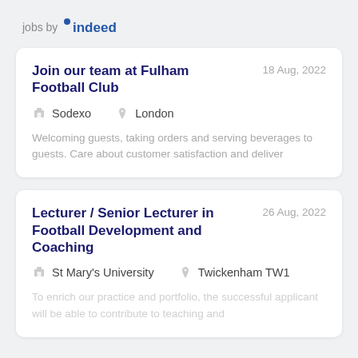[Figure (logo): jobs by indeed logo with 'indeed' in blue bold text]
Join our team at Fulham Football Club
18 Aug, 2022
Sodexo   London
Welcoming guests, taking orders and serving beverages to guests. Care about customer satisfaction and deliver
Lecturer / Senior Lecturer in Football Development and Coaching
26 Aug, 2022
St Mary's University   Twickenham TW1
To enrich our practice and portfolio, the successful applicant will be able to contribute to teaching and